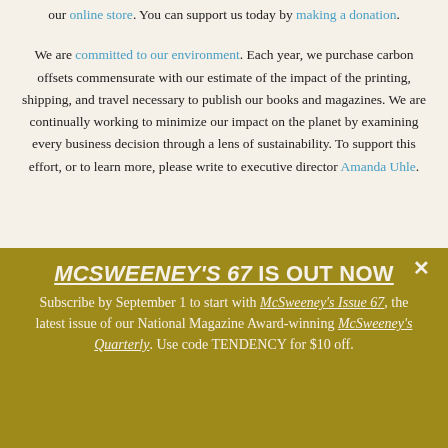our online store. You can support us today by making a donation.
We are committed to our environment. Each year, we purchase carbon offsets commensurate with our estimate of the impact of the printing, shipping, and travel necessary to publish our books and magazines. We are continually working to minimize our impact on the planet by examining every business decision through a lens of sustainability. To support this effort, or to learn more, please write to executive director Amanda Uhle.
INTERNET TENDENCY
THE STORE
BOOKS DIVISION
QUARTERLY CONCERN
THE BELIEVER
DONATE
MCSWEENEY'S 67 IS OUT NOW Subscribe by September 1 to start with McSweeney's Issue 67, the latest issue of our National Magazine Award-winning McSweeney's Quarterly. Use code TENDENCY for $10 off.